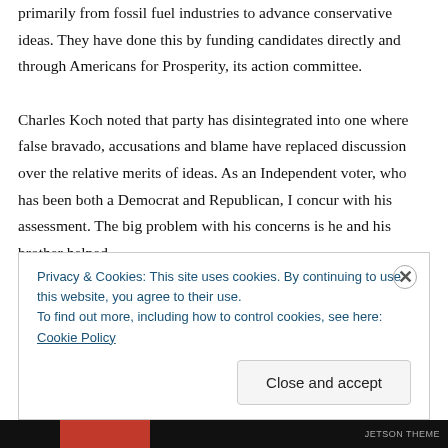primarily from fossil fuel industries to advance conservative ideas. They have done this by funding candidates directly and through Americans for Prosperity, its action committee.

Charles Koch noted that party has disintegrated into one where false bravado, accusations and blame have replaced discussion over the relative merits of ideas. As an Independent voter, who has been both a Democrat and Republican, I concur with his assessment. The big problem with his concerns is he and his brother helped create and feed The Beast that is dragging down the
Privacy & Cookies: This site uses cookies. By continuing to use this website, you agree to their use.
To find out more, including how to control cookies, see here: Cookie Policy
Close and accept